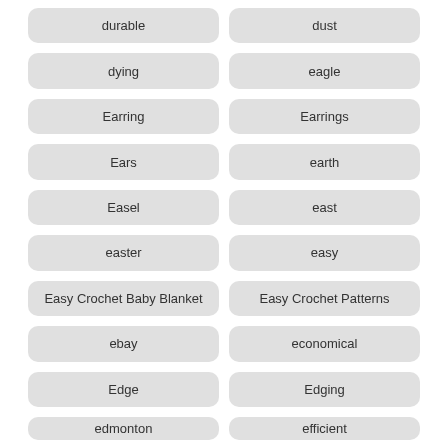durable
dust
dying
eagle
Earring
Earrings
Ears
earth
Easel
east
easter
easy
Easy Crochet Baby Blanket
Easy Crochet Patterns
ebay
economical
Edge
Edging
edmonton
efficient